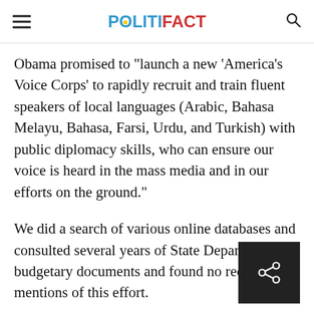POLITIFACT
Obama promised to "launch a new 'America's Voice Corps' to rapidly recruit and train fluent speakers of local languages (Arabic, Bahasa Melayu, Bahasa, Farsi, Urdu, and Turkish) with public diplomacy skills, who can ensure our voice is heard in the mass media and in our efforts on the ground."
We did a search of various online databases and consulted several years of State Department budgetary documents and found no recent mentions of this effort.